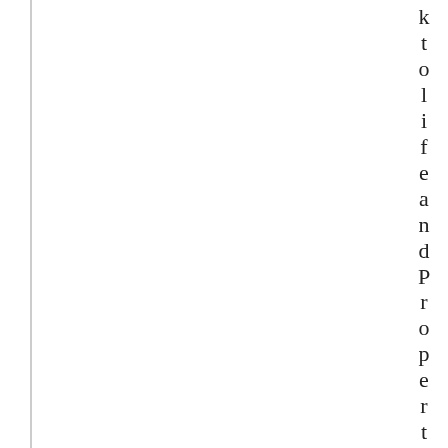k t o l i f e a n d P r o p e r t y f